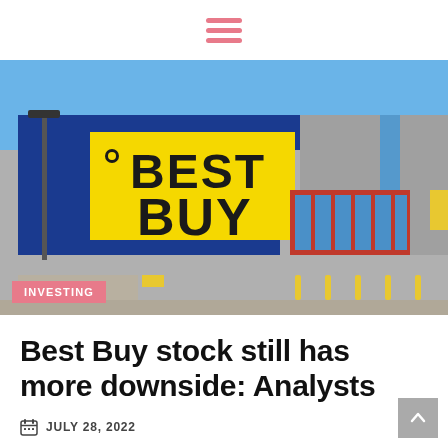hamburger menu icon
[Figure (photo): Exterior photograph of a Best Buy retail store with a large blue facade, prominent yellow Best Buy logo tag sign, red-framed glass entrance doors, and a clear blue sky in the background.]
INVESTING
Best Buy stock still has more downside: Analysts
JULY 28, 2022